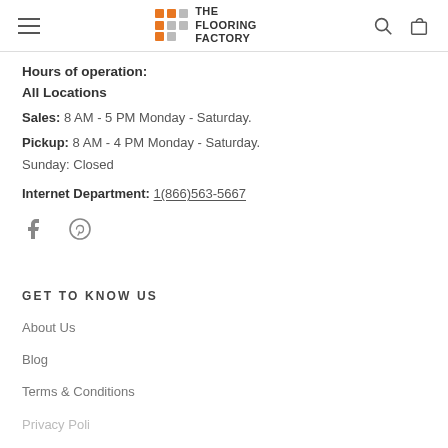THE FLOORING FACTORY
Hours of operation:
All Locations
Sales: 8 AM - 5 PM Monday - Saturday.
Pickup: 8 AM - 4 PM Monday - Saturday.
Sunday: Closed
Internet Department: 1(866)563-5667
[Figure (illustration): Facebook and Pinterest social media icons]
GET TO KNOW US
About Us
Blog
Terms & Conditions
Privacy Policy